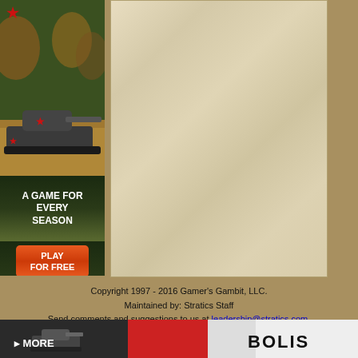[Figure (illustration): World of Tanks game advertisement banner showing a Soviet tank in a wheat field with text 'A GAME FOR EVERY SEASON' and a red 'PLAY FOR FREE' button]
[Figure (other): Parchment-textured content panel]
Copyright 1997 - 2016 Gamer's Gambit, LLC.
Maintained by: Stratics Staff
Send comments and suggestions to us at leadership@stratics.com.
[Figure (other): Bottom banner strip with game advertisement]